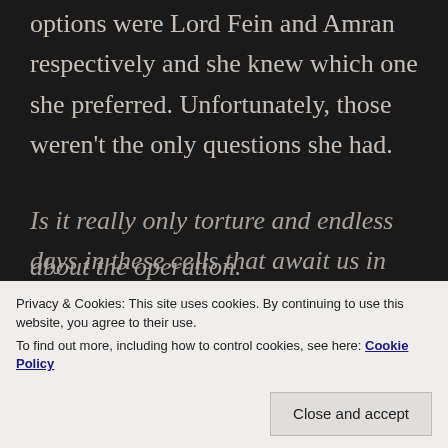options were Lord Fein and Amran respectively and she knew which one she preferred. Unfortunately, those weren't the only questions she had.
Is it really only torture and endless days in these cells that await us in this hell? There must be something more. If only someone
about the operation.
Privacy & Cookies: This site uses cookies. By continuing to use this website, you agree to their use.
To find out more, including how to control cookies, see here: Cookie Policy